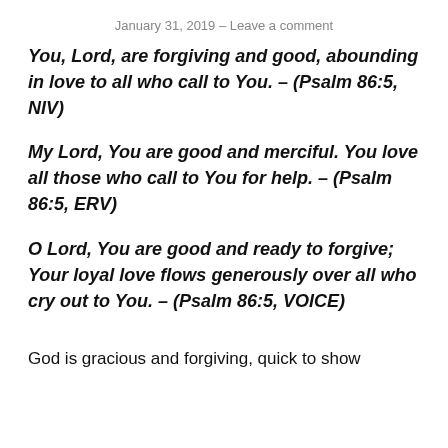January 31, 2019 – Leave a comment
You, Lord, are forgiving and good, abounding in love to all who call to You. – (Psalm 86:5, NIV)
My Lord, You are good and merciful. You love all those who call to You for help. – (Psalm 86:5, ERV)
O Lord, You are good and ready to forgive; Your loyal love flows generously over all who cry out to You. – (Psalm 86:5, VOICE)
God is gracious and forgiving, quick to show